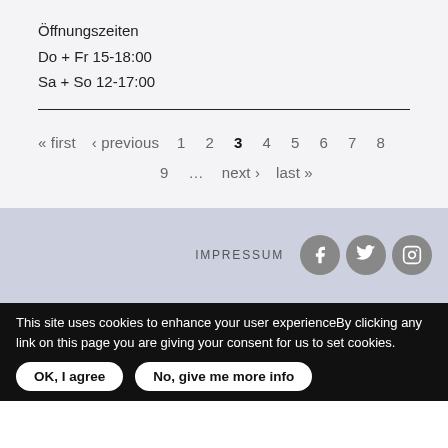Öffnungszeiten
Do + Fr 15-18:00
Sa + So 12-17:00
« first  ‹ previous  1  2  3  4  5  6  7  8  9  …  next ›  last »
IMPRESSUM
This site uses cookies to enhance your user experienceBy clicking any link on this page you are giving your consent for us to set cookies.
OK, I agree
No, give me more info